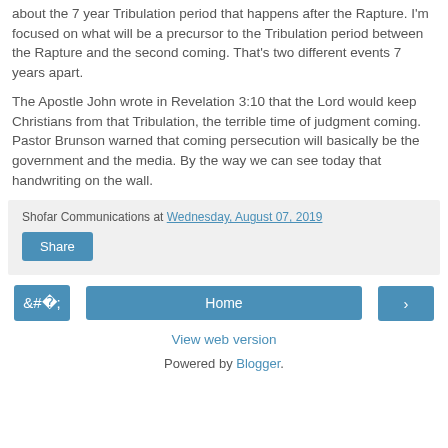about the 7 year Tribulation period that happens after the Rapture. I'm focused on what will be a precursor to the Tribulation period between the Rapture and the second coming. That's two different events 7 years apart.
The Apostle John wrote in Revelation 3:10 that the Lord would keep Christians from that Tribulation, the terrible time of judgment coming. Pastor Brunson warned that coming persecution will basically be the government and the media. By the way we can see today that handwriting on the wall.
Shofar Communications at Wednesday, August 07, 2019
Share
‹
Home
›
View web version
Powered by Blogger.